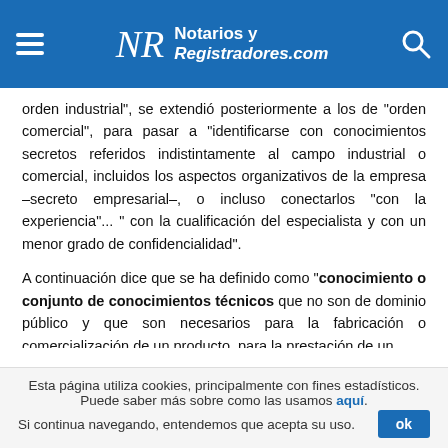Notarios y Registradores.com
orden industrial", se extendió posteriormente a los de "orden comercial", para pasar a "identificarse con conocimientos secretos referidos indistintamente al campo industrial o comercial, incluidos los aspectos organizativos de la empresa –secreto empresarial–, o incluso conectarlos "con la experiencia"... " con la cualificación del especialista y con un menor grado de confidencialidad".
A continuación dice que se ha definido como "conocimiento o conjunto de conocimientos técnicos que no son de dominio público y que son necesarios para la fabricación o comercialización de un producto, para la prestación de un
Esta página utiliza cookies, principalmente con fines estadísticos. Puede saber más sobre como las usamos aquí. Si continua navegando, entendemos que acepta su uso.